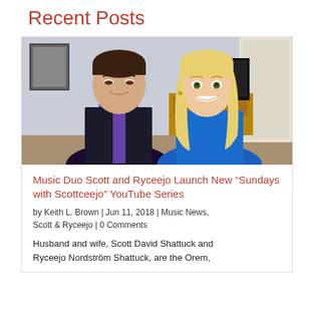Recent Posts
[Figure (photo): A man and a woman sitting side by side indoors. The man wears a black vest over a purple shirt; the woman wears a bright blue top with long blonde hair. Room background with TV and furniture.]
Music Duo Scott and Ryceejo Launch New “Sundays with Scottceejo” YouTube Series
by Keith L. Brown | Jun 11, 2018 | Music News, Scott & Ryceejo | 0 Comments
Husband and wife, Scott David Shattuck and Ryceejo Nordström Shattuck, are the Orem,